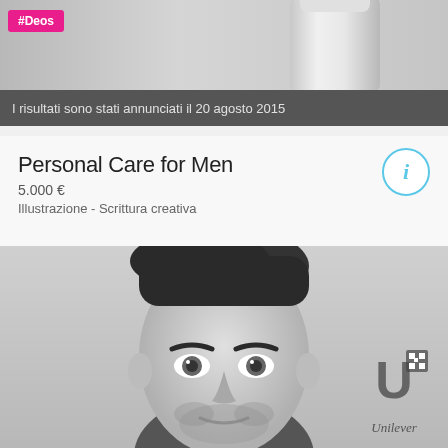[Figure (photo): Top portion of a deodorant bottle in greyscale, with a pink hashtag label '#Deos' overlaid in top-left corner]
I risultati sono stati annunciati il 20 agosto 2015
Personal Care for Men
5.000 €
Illustrazione - Scrittura creativa
[Figure (photo): Black and white close-up portrait photograph of a young man with dark hair, stubble beard, looking directly at camera. Unilever logo with QR code in bottom-right corner.]